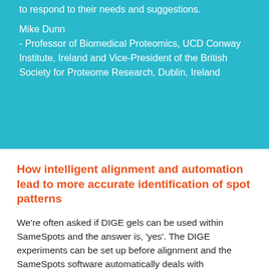to respond to their needs and suggestions.
Mike Dunn
- Professor of Biomedical Proteomics, UCD Conway Institute, Ireland and Vice-President of the British Society for Proteome Research, Dublin, Ireland
How intelligent alignment and automation lead to more accurate identification of spot patterns
We're often asked if DIGE gels can be used within SameSpots and the answer is, 'yes'. The DIGE experiments can be set up before alignment and the SameSpots software automatically deals with